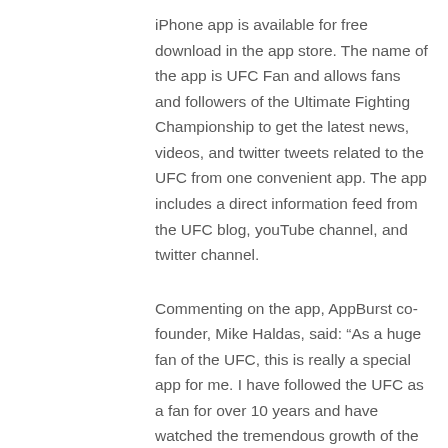iPhone app is available for free download in the app store. The name of the app is UFC Fan and allows fans and followers of the Ultimate Fighting Championship to get the latest news, videos, and twitter tweets related to the UFC from one convenient app. The app includes a direct information feed from the UFC blog, youTube channel, and twitter channel.
Commenting on the app, AppBurst co-founder, Mike Haldas, said: “As a huge fan of the UFC, this is really a special app for me. I have followed the UFC as a fan for over 10 years and have watched the tremendous growth of the sport of MMA. It is really exciting to me that we were able to leverage the our iPhone development platform to